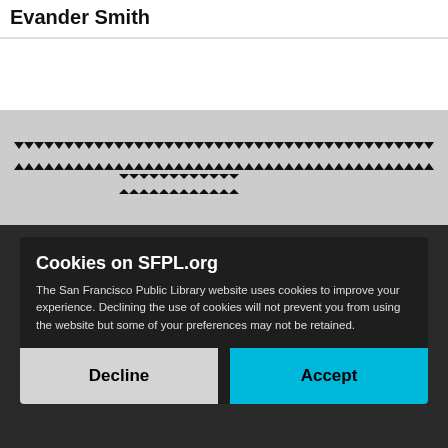Evander Smith
[Figure (other): Barcode/decorative pattern with X-shaped repeating elements on gray background]
Cookies on SFPL.org
The San Francisco Public Library website uses cookies to improve your experience. Declining the use of cookies will not prevent you from using the website but some of your preferences may not be retained.
Decline
Accept